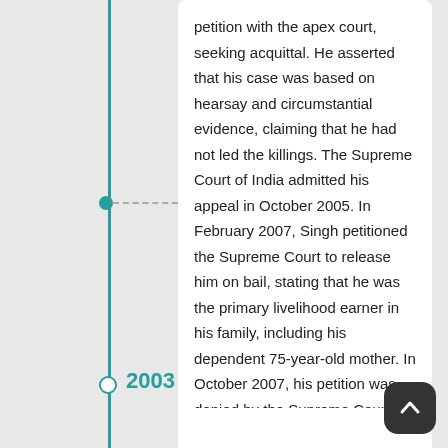petition with the apex court, seeking acquittal. He asserted that his case was based on hearsay and circumstantial evidence, claiming that he had not led the killings. The Supreme Court of India admitted his appeal in October 2005. In February 2007, Singh petitioned the Supreme Court to release him on bail, stating that he was the primary livelihood earner in his family, including his dependent 75-year-old mother. In October 2007, his petition was denied by the Supreme Court.
2003